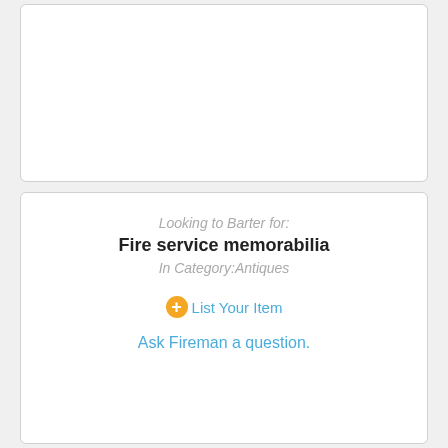[Figure (other): Empty white card panel at top of page]
Looking to Barter for:
Fire service memorabilia
In Category:Antiques
List Your Item
Ask Fireman a question.